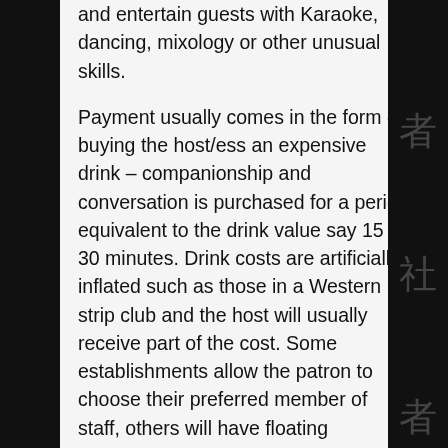and entertain guests with Karaoke, dancing, mixology or other unusual skills.
Payment usually comes in the form of buying the host/ess an expensive drink – companionship and conversation is purchased for a period equivalent to the drink value say 15 – 30 minutes. Drink costs are artificially inflated such as those in a Western strip club and the host will usually receive part of the cost. Some establishments allow the patron to choose their preferred member of staff, others will have floating